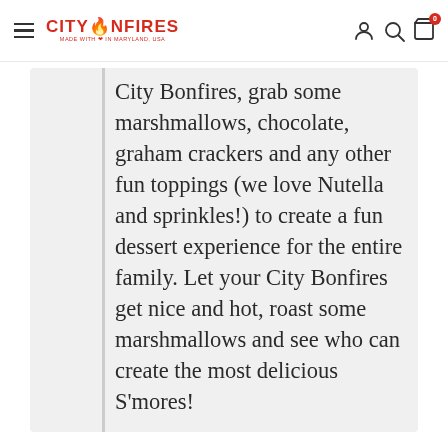CITYBONFIRES MADE WITH HEART IN MARYLAND, USA
City Bonfires, grab some marshmallows, chocolate, graham crackers and any other fun toppings (we love Nutella and sprinkles!) to create a fun dessert experience for the entire family. Let your City Bonfires get nice and hot, roast some marshmallows and see who can create the most delicious S'mores!